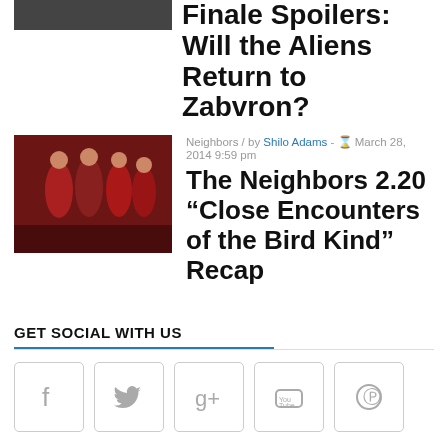Finale Spoilers: Will the Aliens Return to Zabvron?
Neighbors / by Shilo Adams - March 28, 2014 9:59 pm
The Neighbors 2.20 “Close Encounters of the Bird Kind” Recap
GET SOCIAL WITH US
[Figure (infographic): Social media icon buttons: Facebook, Twitter, Google+, YouTube, Pinterest]
LIKE US